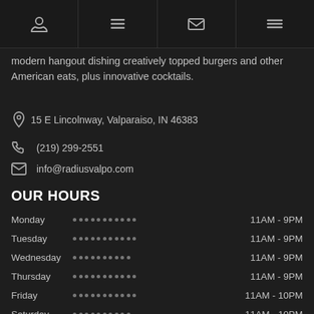Navigation bar with phone, burger, email, and menu icons
modern hangout dishing creatively topped burgers and other American eats, plus innovative cocktails.
15 E Lincolnway, Valparaiso, IN 46383
(219) 299-2551
info@radiusvalpo.com
OUR HOURS
Monday  11AM - 9PM
Tuesday  11AM - 9PM
Wednesday  11AM - 9PM
Thursday  11AM - 9PM
Friday  11AM - 10PM
Saturday  11AM - 10PM